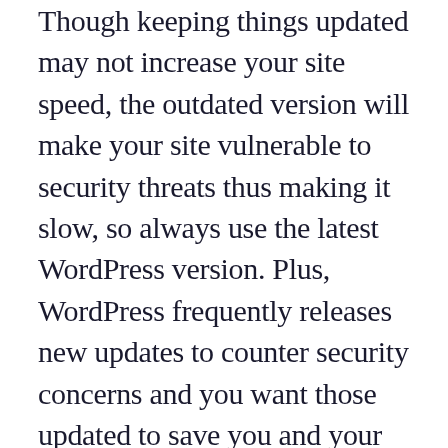Though keeping things updated may not increase your site speed, the outdated version will make your site vulnerable to security threats thus making it slow, so always use the latest WordPress version. Plus, WordPress frequently releases new updates to counter security concerns and you want those updated to save you and your visitors lots of potential headaches from being hacked.
Similarly, you may also be in...